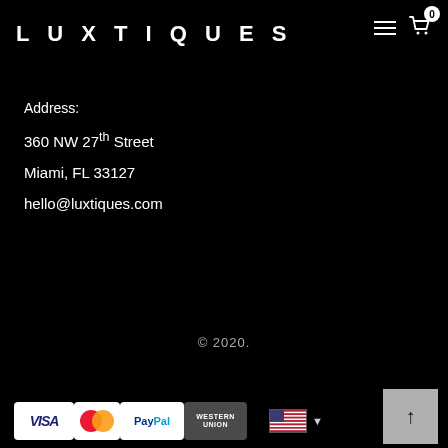LUXTIQUES
Address:
360 NW 27th Street
Miami, FL 33127
hello@luxtiques.com
© 2020.
[Figure (other): Payment method icons: VISA, MasterCard, PayPal, Western Union, US flag language selector, and back-to-top arrow button]